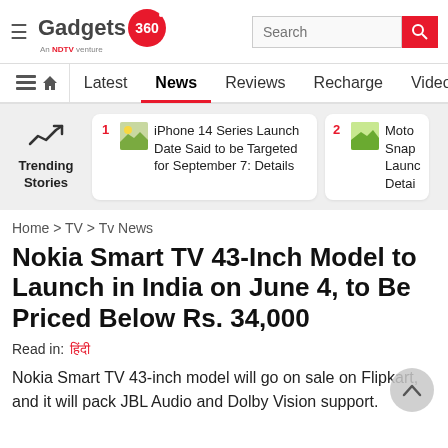Gadgets 360 — An NDTV Venture | Search bar
Latest | News | Reviews | Recharge | Videos | M
[Figure (infographic): Trending Stories section with two cards: 1. iPhone 14 Series Launch Date Said to be Targeted for September 7: Details; 2. Moto Snap Launch Detai (partially visible)]
Home > TV > Tv News
Nokia Smart TV 43-Inch Model to Launch in India on June 4, to Be Priced Below Rs. 34,000
Read in: हिंदी
Nokia Smart TV 43-inch model will go on sale on Flipkart, and it will pack JBL Audio and Dolby Vision support.